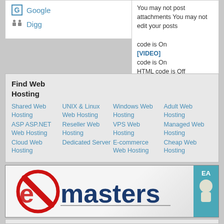Google
Digg
You may not post attachments
You may not edit your posts
code is On
[VIDEO] code is On
HTML code is Off
Forum Rules
Find Web Hosting
Shared Web Hosting
UNIX & Linux Web Hosting
Windows Web Hosting
Adult Web Hosting
ASP ASP.NET Web Hosting
Reseller Web Hosting
VPS Web Hosting
Managed Web Hosting
Cloud Web Hosting
Dedicated Server
E-commerce Web Hosting
Cheap Web Hosting
[Figure (screenshot): exmasters banner advertisement with red X circle logo and dark blue 'masters' text]